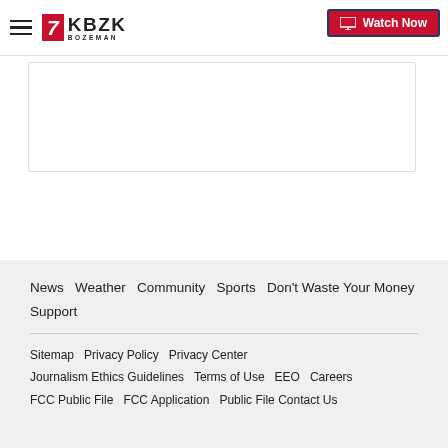KBZK Bozeman | Watch Now
[Figure (other): Empty content box with border]
News   Weather   Community   Sports   Don't Waste Your Money   Support

Sitemap   Privacy Policy   Privacy Center
Journalism Ethics Guidelines   Terms of Use   EEO   Careers
FCC Public File   FCC Application   Public File Contact Us